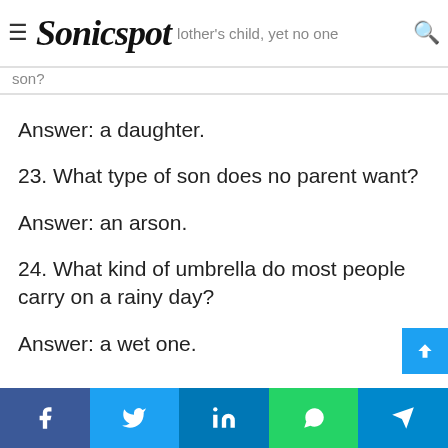Sonicspot | ...other's child, yet no one son?
Answer: a daughter.
23. What type of son does no parent want?
Answer: an arson.
24. What kind of umbrella do most people carry on a rainy day?
Answer: a wet one.
25. He has married many women but has neve...
Facebook | Twitter | LinkedIn | WhatsApp | Telegram